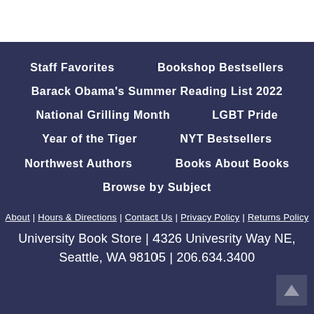Staff Favorites
Bookshop Bestsellers
Barack Obama's Summer Reading List 2022
National Grilling Month
LGBT Pride
Year of the Tiger
NYT Bestsellers
Northwest Authors
Books About Books
Browse by Subject
About | Hours & Directions | Contact Us | Privacy Policy | Returns Policy
University Book Store | 4326 Univesrity Way NE, Seattle, WA 98105 | 206.634.3400